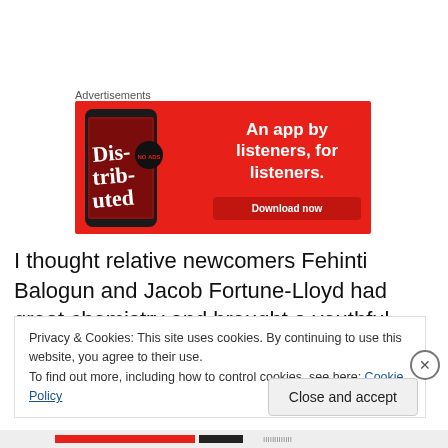Advertisements
[Figure (illustration): Red advertisement banner for a podcast app. Shows a smartphone with 'Distributed' podcast cover on screen. Text reads 'An app by listeners, for listeners.' with a 'Download now' button.]
I thought relative newcomers Fehinti Balogun and Jacob Fortune-Lloyd had great chemistry and brought a youthful
Privacy & Cookies: This site uses cookies. By continuing to use this website, you agree to their use.
To find out more, including how to control cookies, see here: Cookie Policy
Close and accept